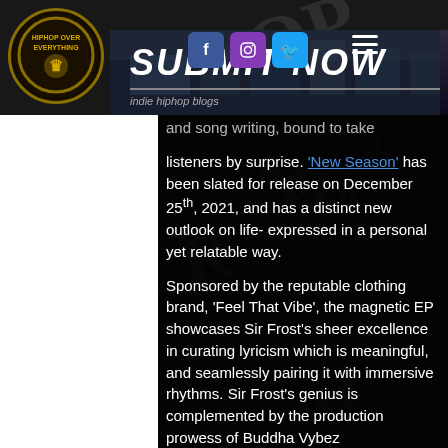[Figure (logo): HipHop Over Everything circular logo in gold/black]
[Figure (screenshot): Social media icons: Facebook, Instagram, Twitter in colored squares]
[Figure (infographic): SUBMIT NOW banner with cityscape background and 'indie hiphop blogs' tagline]
listeners by surprise. 'New Season' has been slated for release on December 25th, 2021, and has a distinct new outlook on life- expressed in a personal yet relatable way.
Sponsored by the reputable clothing brand, 'Feel That Vibe', the magnetic EP showcases Sir Frost's sheer excellence in curating lyricism which is meaningful, and seamlessly pairing it with immersive rhythms. Sir Frost's genius is complemented by the production prowess of Buddha Vybez